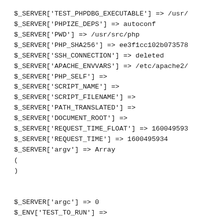$_SERVER['TEST_PHPDBG_EXECUTABLE'] => /usr/
$_SERVER['PHPIZE_DEPS'] => autoconf
$_SERVER['PWD'] => /usr/src/php
$_SERVER['PHP_SHA256'] => ee3f1cc102b073578
$_SERVER['SSH_CONNECTION'] => deleted
$_SERVER['APACHE_ENVVARS'] => /etc/apache2/
$_SERVER['PHP_SELF'] =>
$_SERVER['SCRIPT_NAME'] =>
$_SERVER['SCRIPT_FILENAME'] =>
$_SERVER['PATH_TRANSLATED'] =>
$_SERVER['DOCUMENT_ROOT'] =>
$_SERVER['REQUEST_TIME_FLOAT'] => 160049593
$_SERVER['REQUEST_TIME'] => 1600495934
$_SERVER['argv'] => Array
(
)

$_SERVER['argc'] => 0
$_ENV['TEST_TO_RUN'] =>